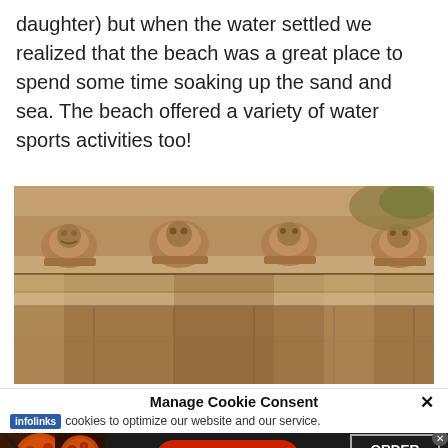daughter) but when the water settled we realized that the beach was a great place to spend some time soaking up the sand and sea. The beach offered a variety of water sports activities too!
[Figure (photo): Photo of ancient stone ruins with ornate carved columns and decorative architectural elements, sepia/warm toned]
Manage Cookie Consent ×
cookies to optimize our website and our service.
[Figure (screenshot): Infolinks advertisement banner featuring Seamless food delivery with pizza imagery and ORDER NOW button]